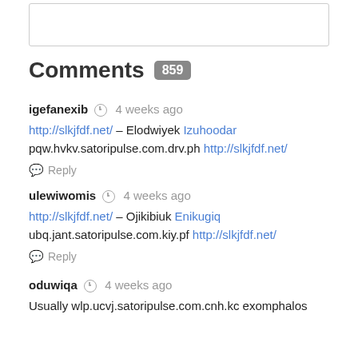[Figure (other): Empty input/text box with border]
Comments 859
igefanexib  4 weeks ago
http://slkjfdf.net/ – Elodwiyek Izuhoodar
pqw.hvkv.satoripulse.com.drv.ph http://slkjfdf.net/
Reply
ulewiwomis  4 weeks ago
http://slkjfdf.net/ – Ojikibiuk Enikugiq
ubq.jant.satoripulse.com.kiy.pf http://slkjfdf.net/
Reply
oduwiqa  4 weeks ago
Usually wlp.ucvj.satoripulse.com.cnh.kc exomphalos